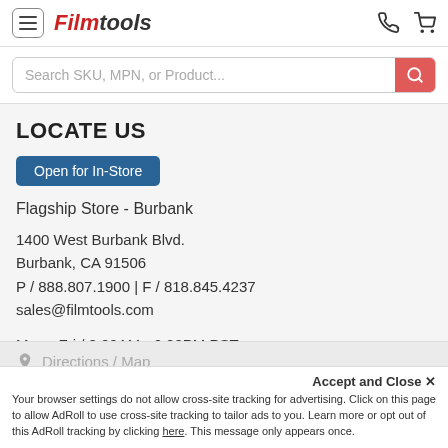Filmtools
Search SKU, MPN, or Product...
LOCATE US
Open for In-Store
Flagship Store - Burbank
1400 West Burbank Blvd.
Burbank, CA 91506
P / 888.807.1900 | F / 818.845.4237
sales@filmtools.com
Mon - Fri / 8:00AM - 6:00PM PST
Sat / 9:00AM - 5:00PM PST
Sun / Closed
Directions / Map
Accept and Close ✕
Your browser settings do not allow cross-site tracking for advertising. Click on this page to allow AdRoll to use cross-site tracking to tailor ads to you. Learn more or opt out of this AdRoll tracking by clicking here. This message only appears once.